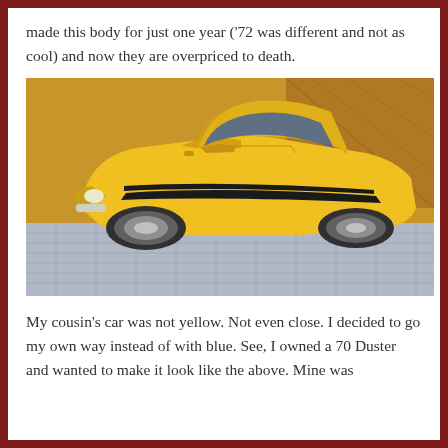made this body for just one year ('72 was different and not as cool) and now they are overpriced to death.
[Figure (photo): Photo of a yellow classic muscle car model (appears to be a 1970s Dodge Demon or Duster) with black racing stripes along the side, photographed from a front three-quarter angle on a blue grid surface with a wooden background.]
My cousin's car was not yellow. Not even close. I decided to go my own way instead of with blue. See, I owned a 70 Duster and wanted to make it look like the above. Mine was